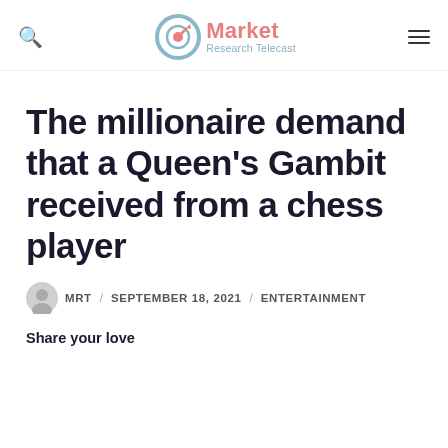Market Research Telecast
The millionaire demand that a Queen’s Gambit received from a chess player
MRT / SEPTEMBER 18, 2021 / ENTERTAINMENT
Share your love